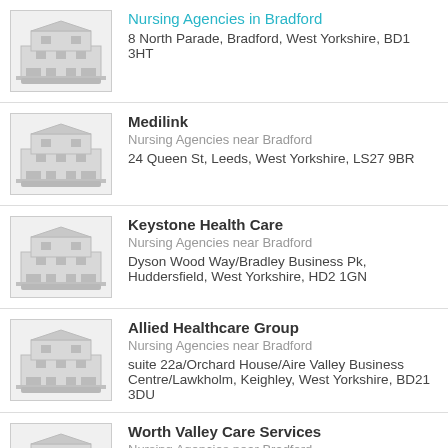Nursing Agencies in Bradford
8 North Parade, Bradford, West Yorkshire, BD1 3HT
Medilink
Nursing Agencies near Bradford
24 Queen St, Leeds, West Yorkshire, LS27 9BR
Keystone Health Care
Nursing Agencies near Bradford
Dyson Wood Way/Bradley Business Pk, Huddersfield, West Yorkshire, HD2 1GN
Allied Healthcare Group
Nursing Agencies near Bradford
suite 22a/Orchard House/Aire Valley Business Centre/Lawkholm, Keighley, West Yorkshire, BD21 3DU
Worth Valley Care Services
Nursing Agencies near Bradford